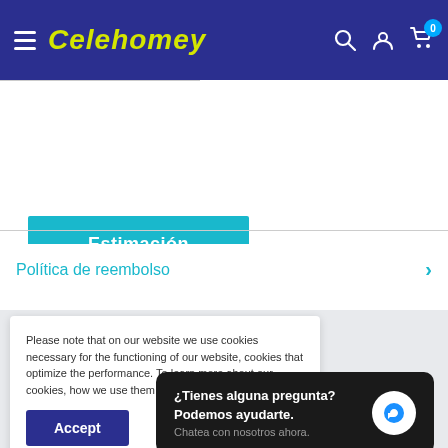Celehomey — navigation bar with hamburger menu, logo, search, account, cart (0)
Estimación
Política de reembolso
Please note that on our website we use cookies necessary for the functioning of our website, cookies that optimize the performance. To learn more about our cookies, how we use them and their benefits, pleas...
Accept
¿Tienes alguna pregunta? Podemos ayudarte. Chatea con nosotros ahora.